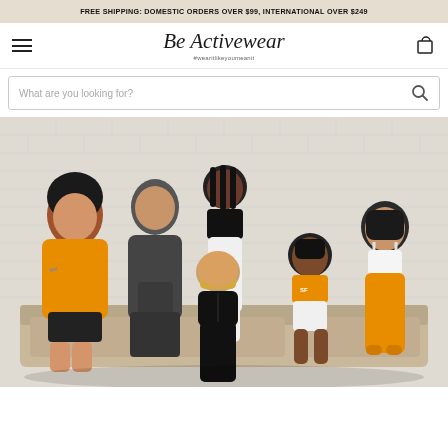FREE SHIPPING: DOMESTIC ORDERS OVER $99, INTERNATIONAL OVER $249
Be Activewear
#wearitlikeyoumeanit
What are you looking for?
[Figure (photo): Group of six diverse models posed on and around a beige couch against a white brick wall, wearing Be Activewear clothing in orange, black, gray, and white. Styles include hoodies, crop tops, joggers, and biker shorts.]